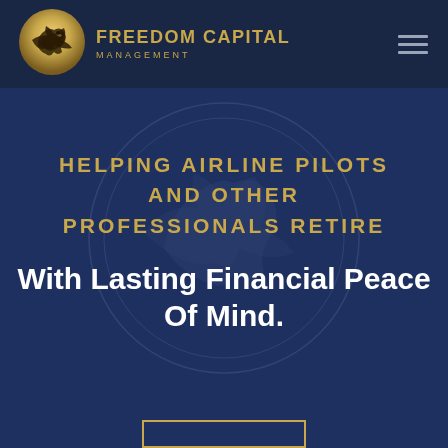[Figure (logo): Freedom Capital Management logo: golden eagle icon on left, company name in gold text on right]
HELPING AIRLINE PILOTS AND OTHER PROFESSIONALS RETIRE
With Lasting Financial Peace Of Mind.